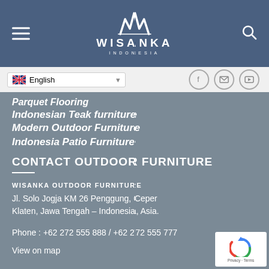WISANKA INDONESIA
Parquet Flooring
Indonesian Teak furniture
Modern Outdoor Furniture
Indonesia Patio Furniture
CONTACT OUTDOOR FURNITURE
WISANKA OUTDOOR FURNITURE
Jl. Solo Jogja KM 26 Penggung, Ceper Klaten, Jawa Tengah – Indonesia, Asia.
Phone : +62 272 555 888 / +62 272 555 777
View on map